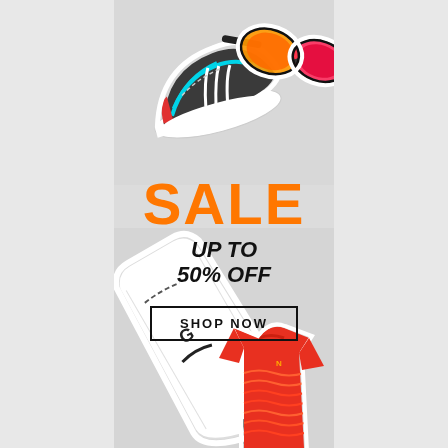[Figure (illustration): Sports sale banner with product images: sneakers (Adidas), orange/red sport sunglasses at top; SUP paddleboard and red Nike sports jersey at bottom. Light gray background.]
SALE
UP TO 50% OFF
SHOP NOW